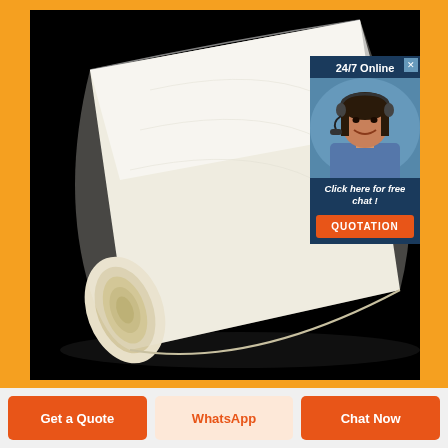[Figure (photo): A rolled white/cream silicone or rubber sheet material photographed against a black background, shown diagonally. The roll is partially unrolled showing the smooth flat sheet surface.]
[Figure (infographic): A customer service chat popup overlay showing '24/7 Online' text at the top, a photo of a smiling female customer service agent with headset, text 'Click here for free chat!', and an orange 'QUOTATION' button. There is also a small close (X) button in the top right corner.]
Get a Quote
WhatsApp
Chat Now